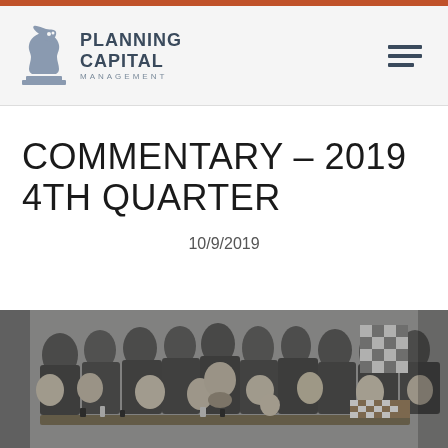Planning Capital Management
COMMENTARY – 2019 4TH QUARTER
10/9/2019
[Figure (photo): Black and white historical photograph of a large group of men gathered around a chess table, with chess boards visible in the background and a young boy seated at the table.]